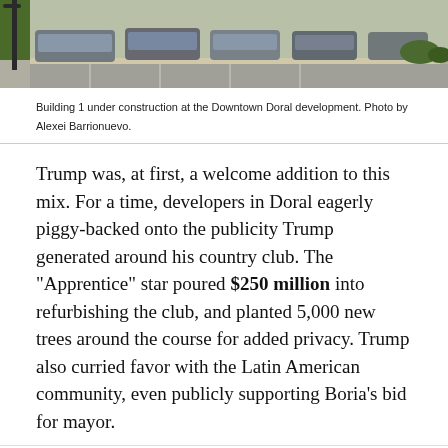[Figure (photo): Parking lot with cars at the Downtown Doral development, viewed from street level with grass on the left and road/curb area visible.]
Building 1 under construction at the Downtown Doral development. Photo by Alexei Barrionuevo.
Trump was, at first, a welcome addition to this mix. For a time, developers in Doral eagerly piggy-backed onto the publicity Trump generated around his country club. The "Apprentice" star poured $250 million into refurbishing the club, and planted 5,000 new trees around the course for added privacy. Trump also curried favor with the Latin American community, even publicly supporting Boria's bid for mayor.
[Figure (logo): Curbed logo — rounded house-shaped border with the word CURBED in bold capital letters]